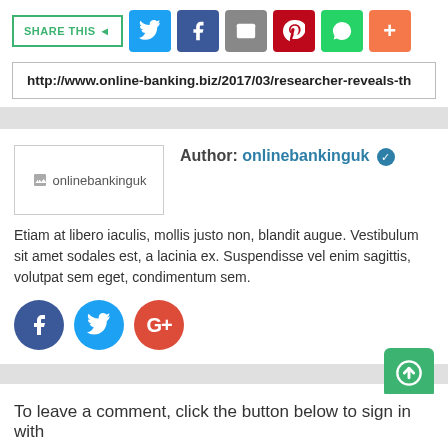[Figure (infographic): Share This bar with Twitter, Facebook, email, Pinterest, WhatsApp, and plus social share buttons]
http://www.online-banking.biz/2017/03/researcher-reveals-th
[Figure (infographic): Author profile section with onlinebankinguk logo image, author name 'onlinebankinguk' with verified badge, bio text, and Facebook/Twitter/Google+ social circle buttons]
Author: onlinebankinguk Etiam at libero iaculis, mollis justo non, blandit augue. Vestibulum sit amet sodales est, a lacinia ex. Suspendisse vel enim sagittis, volutpat sem eget, condimentum sem.
BLOG COMMENTS   FACEBOOK COMMENTS
To leave a comment, click the button below to sign in with